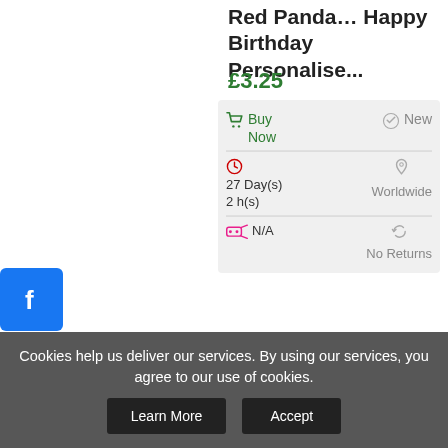Red Panda Happy Birthday Personalise...
£3.25
Buy Now | New | 27 Day(s) 2 h(s) | Worldwide | N/A | No Returns
Buy Now
[Figure (photo): Product thumbnail image]
[Figure (infographic): Social media sharing buttons: Facebook, Twitter, Pinterest, Tumblr, Share (plus)]
Cookies help us deliver our services. By using our services, you agree to our use of cookies.
Learn More | Accept